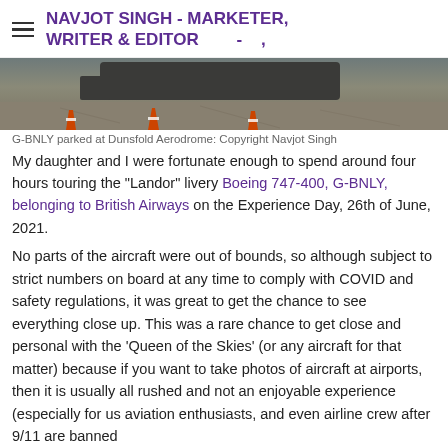NAVJOT SINGH - MARKETER, WRITER & EDITOR
[Figure (photo): Partial view of a Boeing 747-400 in Landor livery parked at Dunsfold Aerodrome, with orange traffic cones visible on the tarmac foreground.]
G-BNLY parked at Dunsfold Aerodrome: Copyright Navjot Singh
My daughter and I were fortunate enough to spend around four hours touring the "Landor" livery Boeing 747-400, G-BNLY, belonging to British Airways on the Experience Day, 26th of June, 2021.
No parts of the aircraft were out of bounds, so although subject to strict numbers on board at any time to comply with COVID and safety regulations, it was great to get the chance to see everything close up. This was a rare chance to get close and personal with the 'Queen of the Skies' (or any aircraft for that matter) because if you want to take photos of aircraft at airports, then it is usually all rushed and not an enjoyable experience (especially for us aviation enthusiasts, and even airline crew after 9/11 are banned